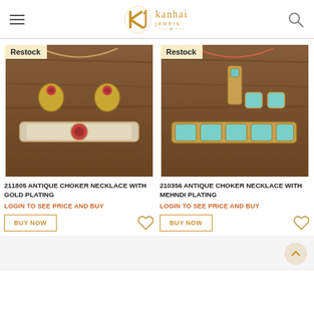Kanhai Jewels — website header with hamburger menu, logo, and search icon
[Figure (photo): Antique choker necklace set with gold plating on wooden background, with Restock badge]
211805 ANTIQUE CHOKER NECKLACE WITH GOLD PLATING
LOGIN TO SEE PRICE AND BUY
[Figure (photo): Antique choker necklace set with mehndi plating on wooden background, with Restock badge]
210356 ANTIQUE CHOKER NECKLACE WITH MEHNDI PLATING
LOGIN TO SEE PRICE AND BUY